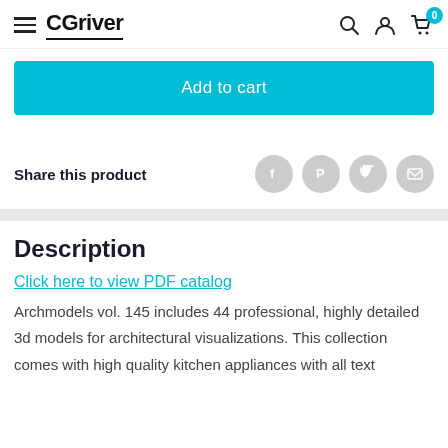CGriver
Add to cart
Share this product
Description
Click here to view PDF catalog
Archmodels vol. 145 includes 44 professional, highly detailed 3d models for architectural visualizations. This collection comes with high quality kitchen appliances with all textures,